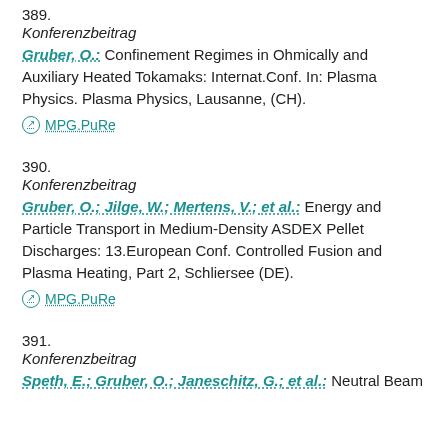389.
Konferenzbeitrag
Gruber, O.: Confinement Regimes in Ohmically and Auxiliary Heated Tokamaks: Internat.Conf. In: Plasma Physics. Plasma Physics, Lausanne, (CH).
⊙ MPG.PuRe
390.
Konferenzbeitrag
Gruber, O.; Jilge, W.; Mertens, V.; et al.: Energy and Particle Transport in Medium-Density ASDEX Pellet Discharges: 13.European Conf. Controlled Fusion and Plasma Heating, Part 2, Schliersee (DE).
⊙ MPG.PuRe
391.
Konferenzbeitrag
Speth, E.; Gruber, O.; Janeschitz, G.; et al.: Neutral Beam